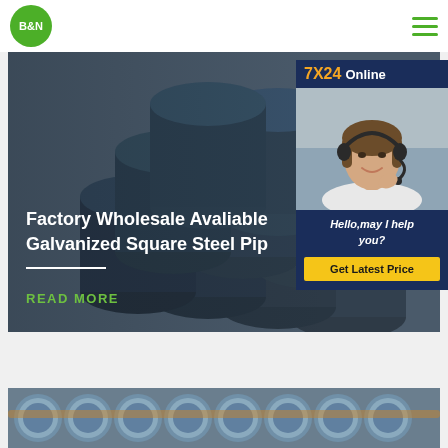[Figure (logo): B&N company logo — green circle with white bold text B&N]
[Figure (photo): Stack of dark steel pipes arranged in a banner hero image with grey-blue overlay]
Factory Wholesale Avaliable Galvanized Square Steel Pip
READ MORE
[Figure (infographic): 7X24 Online chat widget with customer service representative photo, tagline Hello,may I help you? and Get Latest Price button]
[Figure (photo): Partial view of blue-grey steel round bars or discs stacked horizontally at bottom of page]